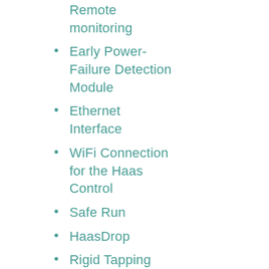Remote monitoring
Early Power-Failure Detection Module
Ethernet Interface
WiFi Connection for the Haas Control
Safe Run
HaasDrop
Rigid Tapping
Standard Program Memory: 1 GB